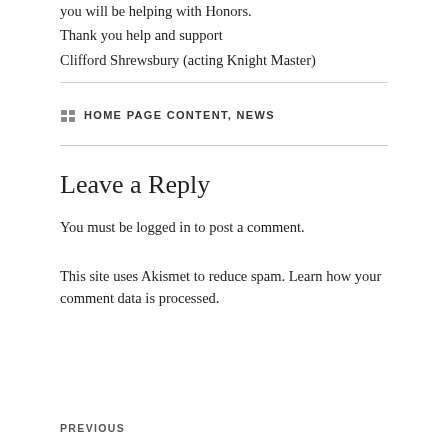you will be helping with Honors.
Thank you help and support
Clifford Shrewsbury (acting Knight Master)
HOME PAGE CONTENT, NEWS
Leave a Reply
You must be logged in to post a comment.
This site uses Akismet to reduce spam. Learn how your comment data is processed.
PREVIOUS